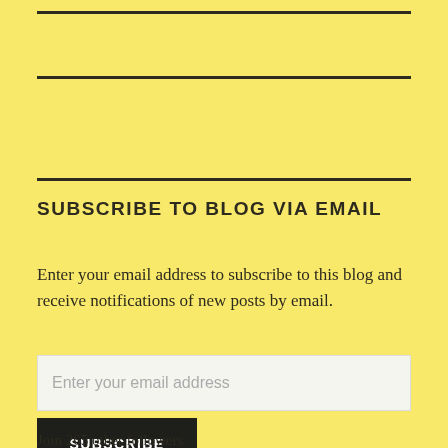SUBSCRIBE TO BLOG VIA EMAIL
Enter your email address to subscribe to this blog and receive notifications of new posts by email.
Enter your email address
SUBSCRIBE
Join 265 other followers